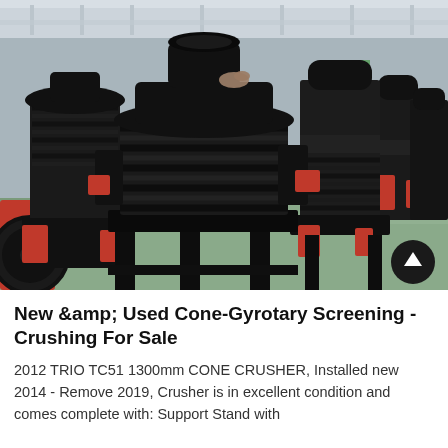[Figure (photo): Photograph of multiple large black cone/gyratory crusher machines displayed inside an industrial factory/warehouse. The crushers are mounted on black metal support stands. Red accent components are visible on several machines. The factory floor is light green/teal colored. Multiple rows of similar machines are visible in the background.]
New & Used Cone-Gyrotary Screening - Crushing For Sale
2012 TRIO TC51 1300mm CONE CRUSHER, Installed new 2014 - Remove 2019, Crusher is in excellent condition and comes complete with: Support Stand with